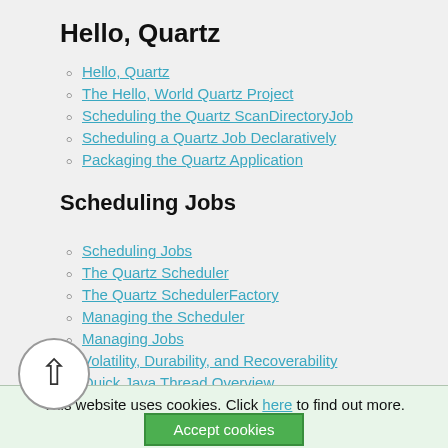Hello, Quartz
Hello, Quartz
The Hello, World Quartz Project
Scheduling the Quartz ScanDirectoryJob
Scheduling a Quartz Job Declaratively
Packaging the Quartz Application
Scheduling Jobs
Scheduling Jobs
The Quartz Scheduler
The Quartz SchedulerFactory
Managing the Scheduler
Managing Jobs
Volatility, Durability, and Recoverability
Quick Java Thread Overview
Thread Usage in Quartz
Understanding Quartz Triggers
Cron Triggers and More
This website uses cookies. Click here to find out more.
Accept cookies